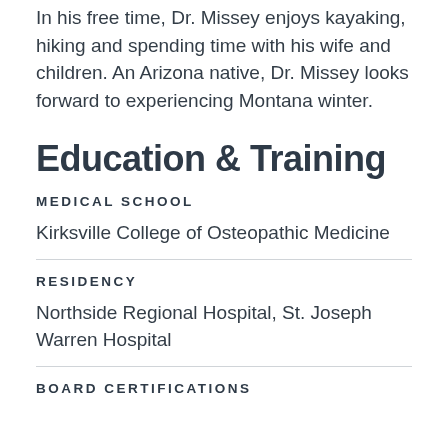In his free time, Dr. Missey enjoys kayaking, hiking and spending time with his wife and children. An Arizona native, Dr. Missey looks forward to experiencing Montana winter.
Education & Training
MEDICAL SCHOOL
Kirksville College of Osteopathic Medicine
RESIDENCY
Northside Regional Hospital, St. Joseph Warren Hospital
BOARD CERTIFICATIONS